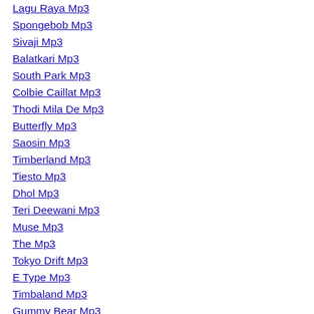Lagu Raya Mp3
Spongebob Mp3
Sivaji Mp3
Balatkari Mp3
South Park Mp3
Colbie Caillat Mp3
Thodi Mila De Mp3
Butterfly Mp3
Saosin Mp3
Timberland Mp3
Tiesto Mp3
Dhol Mp3
Teri Deewani Mp3
Muse Mp3
The Mp3
Tokyo Drift Mp3
E Type Mp3
Timbaland Mp3
Gummy Bear Mp3
Tired Of Being Sorry Mp3
Tu Mile Dil Khile Mp3
Tera Jadoo Chal Gaya Mp3
Scorpions Mp3
Green Day Mp3
Rihana Mp3
Highkiss Mp3